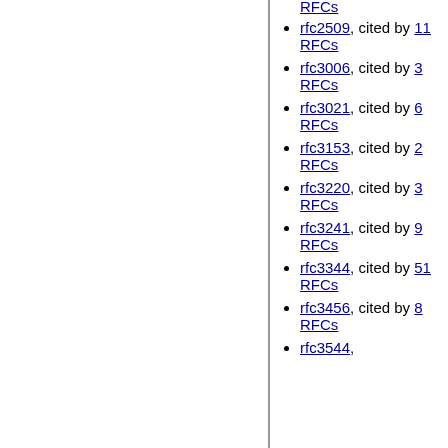rfc2509, cited by 11 RFCs
rfc3006, cited by 3 RFCs
rfc3021, cited by 6 RFCs
rfc3153, cited by 2 RFCs
rfc3220, cited by 3 RFCs
rfc3241, cited by 9 RFCs
rfc3344, cited by 51 RFCs
rfc3456, cited by 8 RFCs
rfc3544,